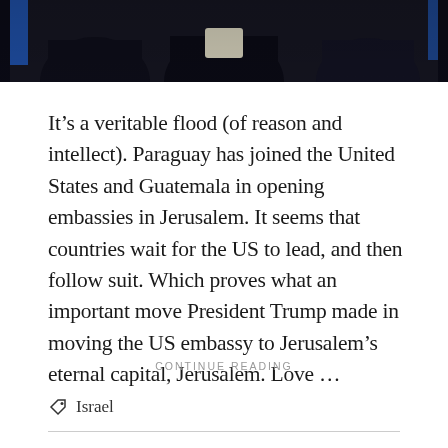[Figure (photo): Dark photograph showing the upper bodies/suits of several people, with blue accents visible on the sides, cropped at the top of the page]
It’s a veritable flood (of reason and intellect). Paraguay has joined the United States and Guatemala in opening embassies in Jerusalem. It seems that countries wait for the US to lead, and then follow suit. Which proves what an important move President Trump made in moving the US embassy to Jerusalem’s eternal capital, Jerusalem. Love …
CONTINUE READING
Israel